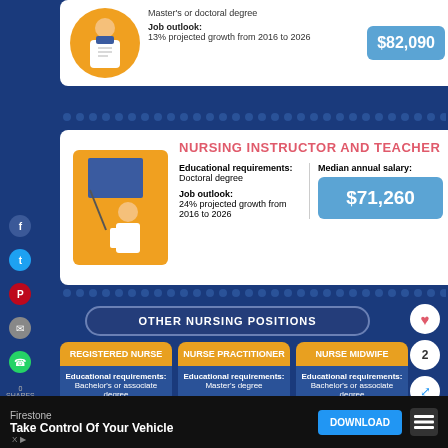Master's or doctoral degree
Job outlook: 13% projected growth from 2016 to 2026
$82,090
NURSING INSTRUCTOR AND TEACHER
Educational requirements: Doctoral degree
Job outlook: 24% projected growth from 2016 to 2026
Median annual salary: $71,260
OTHER NURSING POSITIONS
REGISTERED NURSE
Educational requirements: Bachelor's or associate degree
Job outlook: 15% projected growth from 2016 to 2026
Median annual salary:
NURSE PRACTITIONER
Educational requirements: Master's degree
Job outlook: 36% projected growth from 2016 to 2026
Median annual salary:
NURSE MIDWIFE
Educational requirements: Bachelor's or associate degree
Job outlook: 21% projected growth from 2016 to 2026
Median annual salary: